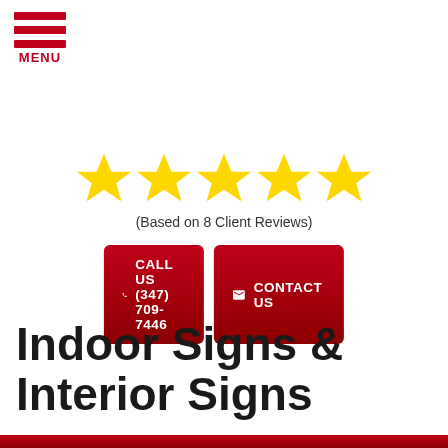[Figure (other): Hamburger menu icon with three red horizontal bars and MENU text in red]
[Figure (other): Five gold star rating icons]
(Based on 8 Client Reviews)
CALL US (347) 709-7446
CONTACT US
Indoor Signs & Interior Signs